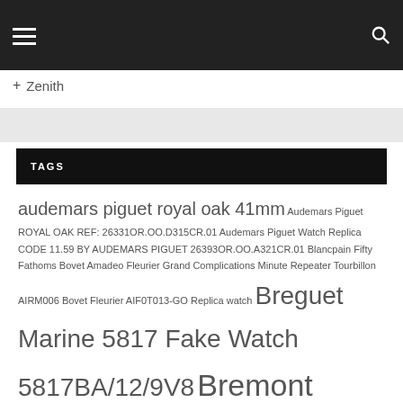Navigation bar with hamburger menu and search icon
+ Zenith
TAGS
audemars piguet royal oak 41mm Audemars Piguet ROYAL OAK REF: 26331OR.OO.D315CR.01 Audemars Piguet Watch Replica CODE 11.59 BY AUDEMARS PIGUET 26393OR.OO.A321CR.01 Blancpain Fifty Fathoms Bovet Amadeo Fleurier Grand Complications Minute Repeater Tourbillon AIRM006 Bovet Fleurier AIF0T013-GO Replica watch Breguet Marine 5817 Fake Watch 5817BA/12/9V8 Bremont KINGSMAN ROSE GOLD BKM-RG Replica Watch Cheapest Patek Philippe Watch Price Replica Grand Complications Engraved Perpetual Calendar 5160/500G-001 Chopard L.U.C Watch Replica Review L.U.C 1937-42